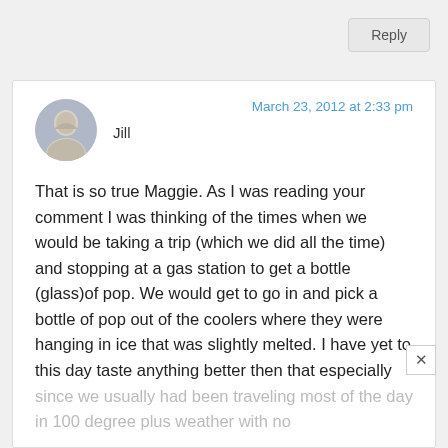Reply
March 23, 2012 at 2:33 pm
Jill
That is so true Maggie. As I was reading your comment I was thinking of the times when we would be taking a trip (which we did all the time) and stopping at a gas station to get a bottle (glass)of pop. We would get to go in and pick a bottle of pop out of the coolers where they were hanging in ice that was slightly melted. I have yet to this day taste anything better then that especially since we usually had been traveling most of the day in 100 degree plus weather with no